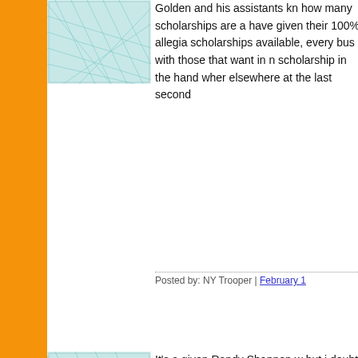[Figure (illustration): Avatar image - teal/cyan geometric mesh pattern on white background, first post]
Golden and his assistants kn how many scholarships are a have given their 100% allegia scholarships available, every bus with those that want in n scholarship in the hand wher elsewhere at the last second
Posted by: NY Trooper | February 1
[Figure (illustration): Avatar image - teal/cyan geometric mesh pattern on white background, second post]
It's a given Randy Shannon w but i doubt he is going to recr despite his record here as he career here, he will always ha hometown. Harris should hav are former canes.
Posted by: Sean Spence is a Beas
[Figure (illustration): Avatar image - teal/cyan geometric mesh pattern on white background, third post]
UMike...there is a lot of misdi game that U do not either kn good blogging but in the long much anything else.